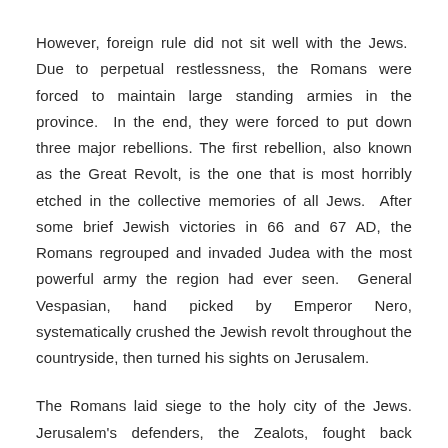However, foreign rule did not sit well with the Jews. Due to perpetual restlessness, the Romans were forced to maintain large standing armies in the province. In the end, they were forced to put down three major rebellions. The first rebellion, also known as the Great Revolt, is the one that is most horribly etched in the collective memories of all Jews. After some brief Jewish victories in 66 and 67 AD, the Romans regrouped and invaded Judea with the most powerful army the region had ever seen. General Vespasian, hand picked by Emperor Nero, systematically crushed the Jewish revolt throughout the countryside, then turned his sights on Jerusalem.
The Romans laid siege to the holy city of the Jews. Jerusalem's defenders, the Zealots, fought back ferociously, but in vain. On Tisha B'Av the city fell.